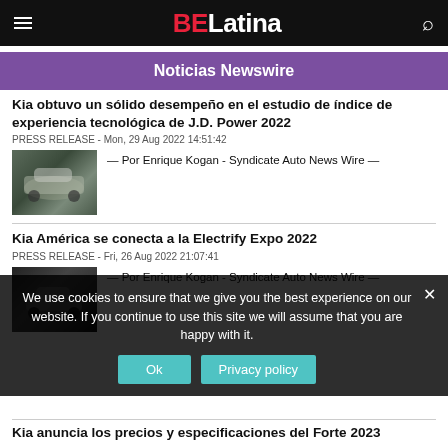BELatina
Noticias Newswire
Kia obtuvo un sólido desempeño en el estudio de índice de experiencia tecnológica de J.D. Power 2022
PRESS RELEASE - Mon, 29 Aug 2022 14:51:42
— Por Enrique Kogan - Syndicate Auto News Wire —
[Figure (photo): Car photo - silver/gray vehicle]
Kia América se conecta a la Electrify Expo 2022
PRESS RELEASE - Fri, 26 Aug 2022 21:07:41
— Por Enrique Kogan - Syndicate Auto News Wire —
[Figure (photo): Car photo - dark vehicle]
We use cookies to ensure that we give you the best experience on our website. If you continue to use this site we will assume that you are happy with it.
Kia anuncia los precios y especificaciones del Forte 2023